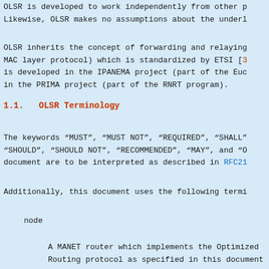OLSR is developed to work independently from other p... Likewise, OLSR makes no assumptions about the underl...
OLSR inherits the concept of forwarding and relaying... MAC layer protocol) which is standardized by ETSI [3]... is developed in the IPANEMA project (part of the Euc... in the PRIMA project (part of the RNRT program).
1.1.  OLSR Terminology
The keywords "MUST", "MUST NOT", "REQUIRED", "SHALL"... "SHOULD", "SHOULD NOT", "RECOMMENDED", "MAY", and "O... document are to be interpreted as described in RFC21...
Additionally, this document uses the following termi...
node
A MANET router which implements the Optimized Routing protocol as specified in this document...